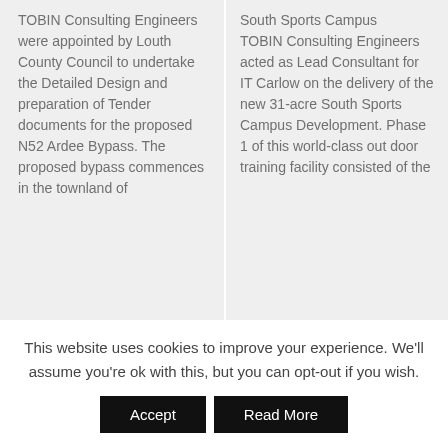TOBIN Consulting Engineers were appointed by Louth County Council to undertake the Detailed Design and preparation of Tender documents for the proposed N52 Ardee Bypass. The proposed bypass commences in the townland of
South Sports Campus
TOBIN Consulting Engineers acted as Lead Consultant for IT Carlow on the delivery of the new 31-acre South Sports Campus Development. Phase 1 of this world-class out door training facility consisted of the
This website uses cookies to improve your experience. We'll assume you're ok with this, but you can opt-out if you wish.